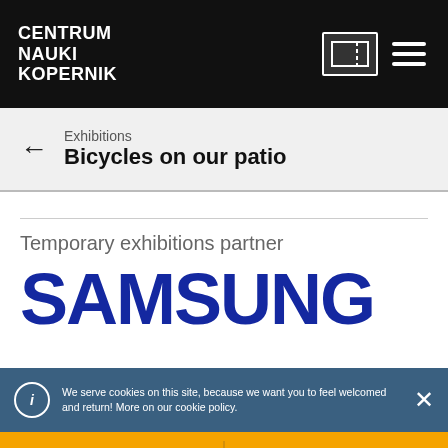CENTRUM NAUKI KOPERNIK
Exhibitions
Bicycles on our patio
Temporary exhibitions partner
[Figure (logo): Samsung logo in blue with bold uppercase text]
We serve cookies on this site, because we want you to feel welcomed and return! More on our cookie policy.
Wesprzyj nas
Pomagaj, robiąc zakupy